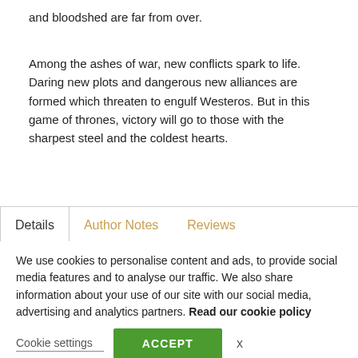and bloodshed are far from over.
Among the ashes of war, new conflicts spark to life. Daring new plots and dangerous new alliances are formed which threaten to engulf Westeros. But in this game of thrones, victory will go to those with the sharpest steel and the coldest hearts.
Details | Author Notes | Reviews (tab bar)
Author:
Format: Paperback
Release Date: 07/30/2014
Pages: 864
ISBN: 9...
We use cookies to personalise content and ads, to provide social media features and to analyse our traffic. We also share information about your use of our site with our social media, advertising and analytics partners. Read our cookie policy
Cookie settings
ACCEPT
x